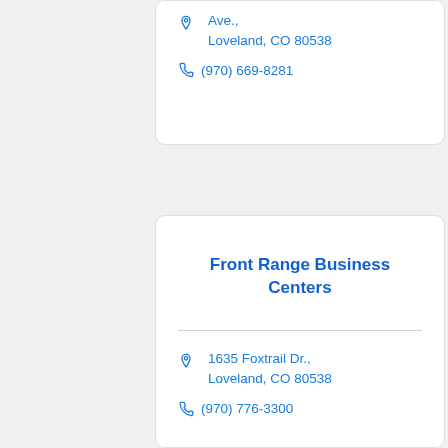Ave., Loveland, CO 80538
(970) 669-8281
Front Range Business Centers
1635 Foxtrail Dr., Loveland, CO 80538
(970) 776-3300